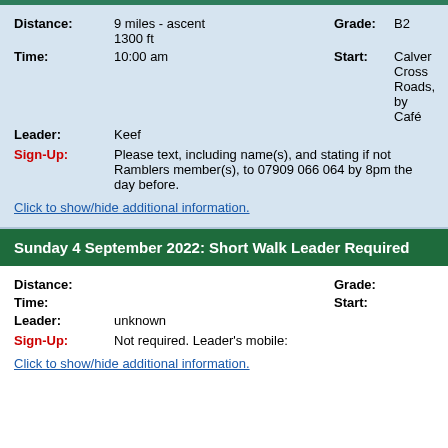Distance: 9 miles - ascent 1300 ft | Grade: B2 | Time: 10:00 am | Start: Calver Cross Roads, by Café | Leader: Keef | Sign-Up: Please text, including name(s), and stating if not Ramblers member(s), to 07909 066 064 by 8pm the day before.
Click to show/hide additional information.
Sunday 4 September 2022: Short Walk Leader Required
Distance:  | Grade: | Time:  | Start: | Leader: unknown | Sign-Up: Not required. Leader's mobile:
Click to show/hide additional information.